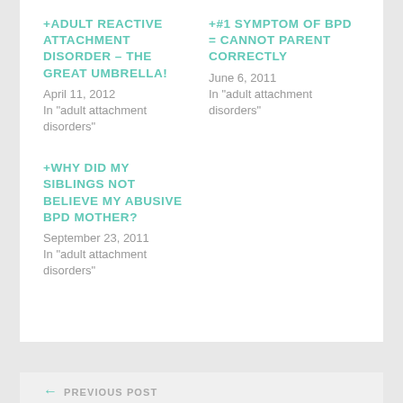+ADULT REACTIVE ATTACHMENT DISORDER – THE GREAT UMBRELLA!
April 11, 2012
In "adult attachment disorders"
+#1 SYMPTOM OF BPD = CANNOT PARENT CORRECTLY
June 6, 2011
In "adult attachment disorders"
+WHY DID MY SIBLINGS NOT BELIEVE MY ABUSIVE BPD MOTHER?
September 23, 2011
In "adult attachment disorders"
← PREVIOUS POST